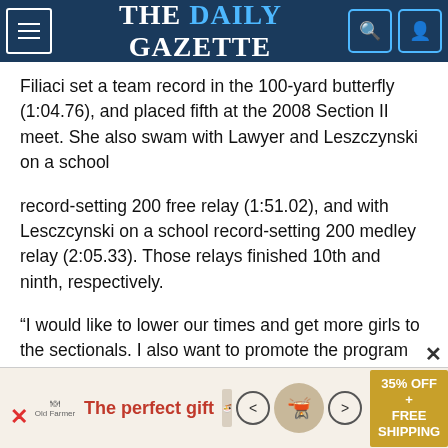THE DAILY GAZETTE
Filiaci set a team record in the 100-yard butterfly (1:04.76), and placed fifth at the 2008 Section II meet. She also swam with Lawyer and Leszczynski on a school
record-setting 200 free relay (1:51.02), and with Lesczcynski on a school record-setting 200 medley relay (2:05.33). Those relays finished 10th and ninth, respectively.
“I would like to lower our times and get more girls to the sectionals. I also want to promote the program and get younger kids in the pool,” said Herron, a physical education teacher at